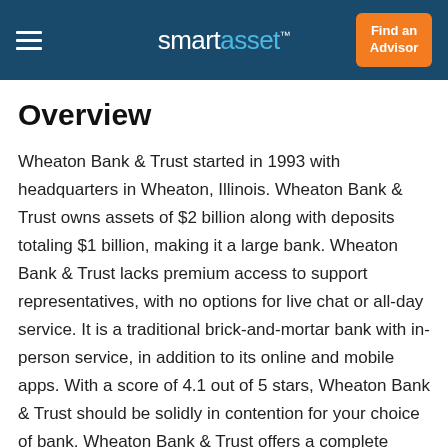smartasset
Overview
Wheaton Bank & Trust started in 1993 with headquarters in Wheaton, Illinois. Wheaton Bank & Trust owns assets of $2 billion along with deposits totaling $1 billion, making it a large bank. Wheaton Bank & Trust lacks premium access to support representatives, with no options for live chat or all-day service. It is a traditional brick-and-mortar bank with in-person service, in addition to its online and mobile apps. With a score of 4.1 out of 5 stars, Wheaton Bank & Trust should be solidly in contention for your choice of bank. Wheaton Bank & Trust offers a complete array of banking products, which include savings accounts, checking accounts, money market accounts, CDs, mortgage products and credit cards. It has a fair savings rate compared to the